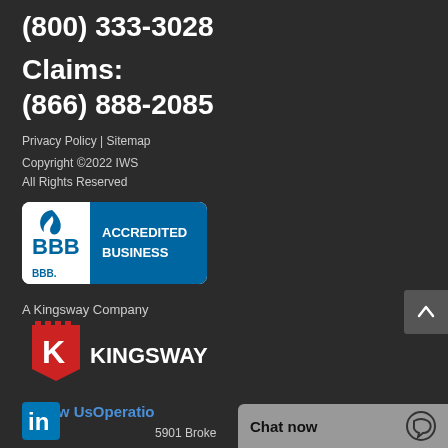(800) 333-3028
Claims:
(866) 888-2085
Privacy Policy | Sitemap
Copyright ©2022 IWS
All Rights Reserved
[Figure (logo): BBB Accredited Business badge - blue rounded rectangle with BBB logo and text 'ACCREDITED BUSINESS']
A Kingsway Company
[Figure (logo): Kingsway logo - red shield with white K letter and KINGSWAY text in white]
Follow UsOperatio
[Figure (logo): LinkedIn icon]
5901 Broke
Chat now